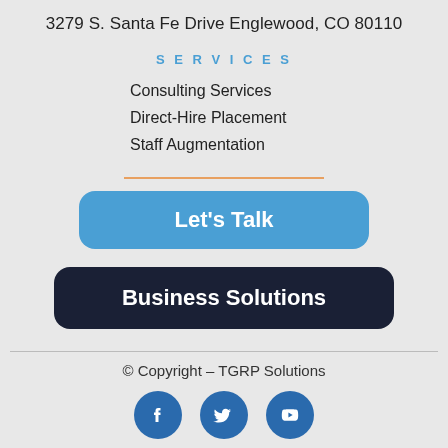3279 S. Santa Fe Drive Englewood, CO 80110
SERVICES
Consulting Services
Direct-Hire Placement
Staff Augmentation
Let's Talk
Business Solutions
© Copyright – TGRP Solutions